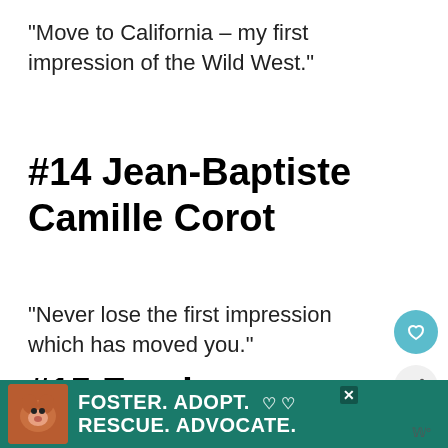"Move to California – my first impression of the Wild West."
#14 Jean-Baptiste Camille Corot
"Never lose the first impression which has moved you."
#15 Fyodor Dostoyevsky
[Figure (photo): Black and white photograph, partially visible, dark background with head visible]
[Figure (infographic): WHAT'S NEXT panel showing thumbnail and text: 61 Quotes Every INFJ...]
[Figure (infographic): Advertisement banner: FOSTER. ADOPT. RESCUE. ADVOCATE. with dog photo on teal background]